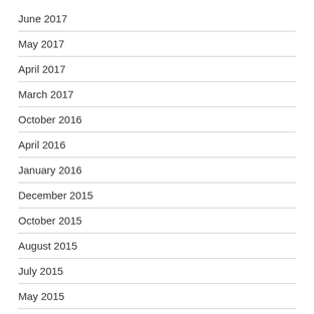June 2017
May 2017
April 2017
March 2017
October 2016
April 2016
January 2016
December 2015
October 2015
August 2015
July 2015
May 2015
April 2015